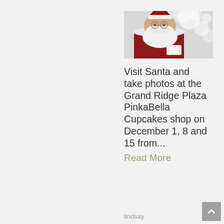[Figure (photo): Photo of Santa Claus in red suit with white beard, reading a list, with blurred bokeh background]
Visit Santa and take photos at the Grand Ridge Plaza PinkaBella Cupcakes shop on December 1, 8 and 15 from...
Read More
lindsay